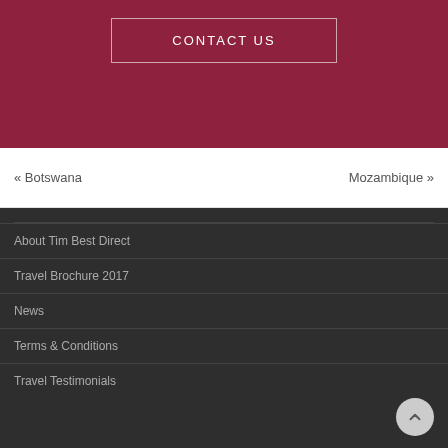CONTACT US
« Botswana
Mozambique »
About Tim Best Direct
Travel Brochure 2017
News
Terms & Conditions
Travel Testimonials